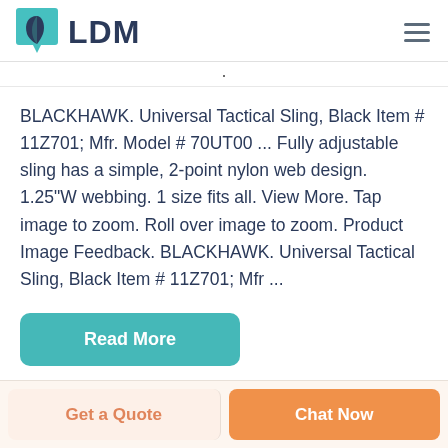LDM
BLACKHAWK. Universal Tactical Sling, Black Item # 11Z701; Mfr. Model # 70UT00 ... Fully adjustable sling has a simple, 2-point nylon web design. 1.25"W webbing. 1 size fits all. View More. Tap image to zoom. Roll over image to zoom. Product Image Feedback. BLACKHAWK. Universal Tactical Sling, Black Item # 11Z701; Mfr ...
Read More
Get a Quote
Chat Now